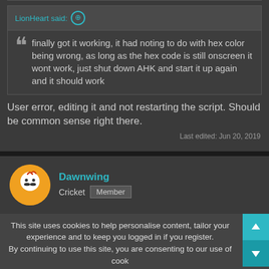LionHeart said: ↑
finally got it working, it had noting to do with hex color being wrong, as long as the hex code is still onscreen it wont work, just shut down AHK and start it up again and it should work
User error, editing it and not restarting the script. Should be common sense right there.
Last edited: Jun 20, 2019
Dawnwing
Cricket  Member
This site uses cookies to help personalise content, tailor your experience and to keep you logged in if you register. By continuing to use this site, you are consenting to our use of cook
Online
Accept
Learn more...